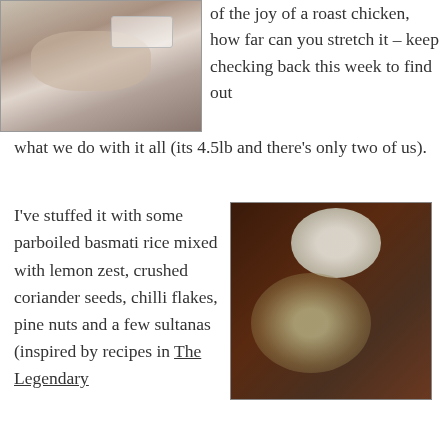[Figure (photo): Packaged raw chicken in a plastic tray with a label showing weight approximately 2.025kg, on a dark surface]
of the joy of a roast chicken, how far can you stretch it – keep checking back this week to find out what we do with it all (its 4.5lb and there's only two of us).
[Figure (photo): Ingredients on a dark wooden surface: a mortar and pestle with seeds, a lemon juicer with a lemon half, and a glass bowl with mixed spices, pine nuts, and sultanas]
I've stuffed it with some parboiled basmati rice mixed with lemon zest, crushed coriander seeds, chilli flakes, pine nuts and a few sultanas (inspired by recipes in The Legendary